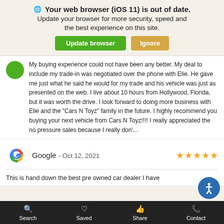[Figure (screenshot): Browser update notification banner with globe icon, bold text 'Your web browser (iOS 11) is out of date.', subtitle 'Update your browser for more security, speed and the best experience on this site.', and two buttons: 'Update browser' (green) and 'Ignore' (tan/gold)]
My buying experience could not have been any better. My deal to include my trade-in was negotiated over the phone with Elie. He gave me just what he said he would for my trade and his vehicle was just as presented on the web. I live about 10 hours from Hollywood, Florida, but it was worth the drive. I look forward to doing more business with Elie and the "Cars N Toyz" family in the future. I highly recommend you buying your next vehicle from Cars N Toyz!!!! I really appreciated the no pressure sales because I really don'...
Google - Oct 12, 2021
This is hand down the best pre owned car dealer I have...
Search  Saved  Share  Contact